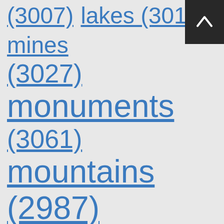(3007) lakes (3015) mines (3027) monuments (3061) mountains (2987) museums (3052) national parks (3039) natural places (3065) nature (3072) nature reserves (2945) off-road trails (3012) parks (3064) playgrounds (2699) religious sites (3033) rivers (3059) running